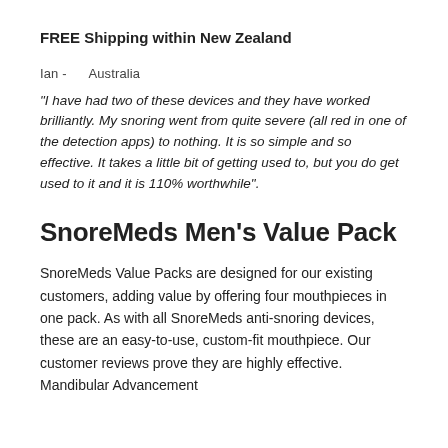FREE Shipping within New Zealand
Ian -    Australia
"I have had two of these devices and they have worked brilliantly. My snoring went from quite severe (all red in one of the detection apps) to nothing. It is so simple and so effective. It takes a little bit of getting used to, but you do get used to it and it is 110% worthwhile".
SnoreMeds Men's Value Pack
SnoreMeds Value Packs are designed for our existing customers, adding value by offering four mouthpieces in one pack. As with all SnoreMeds anti-snoring devices, these are an easy-to-use, custom-fit mouthpiece. Our customer reviews prove they are highly effective. Mandibular Advancement